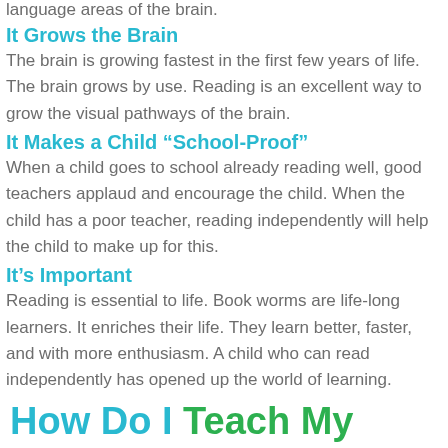language areas of the brain.
It Grows the Brain
The brain is growing fastest in the first few years of life. The brain grows by use. Reading is an excellent way to grow the visual pathways of the brain.
It Makes a Child “School-Proof”
When a child goes to school already reading well, good teachers applaud and encourage the child. When the child has a poor teacher, reading independently will help the child to make up for this.
It’s Important
Reading is essential to life. Book worms are life-long learners. It enriches their life. They learn better, faster, and with more enthusiasm. A child who can read independently has opened up the world of learning.
How Do I Teach My Baby to Read?